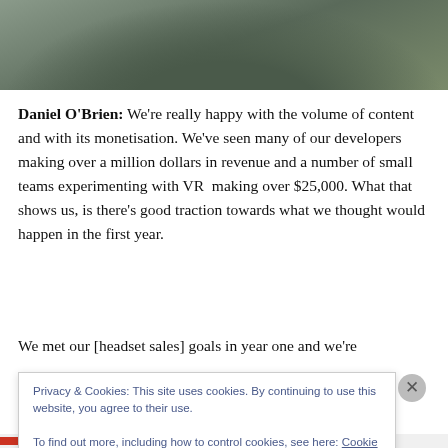[Figure (photo): Bottom portion of a person wearing a dark grey polo/henley shirt, with a blurred outdoor green background visible]
Daniel O'Brien: We're really happy with the volume of content and with its monetisation. We've seen many of our developers making over a million dollars in revenue and a number of small teams experimenting with VR  making over $25,000. What that shows us, is there's good traction towards what we thought would happen in the first year.
We met our [headset sales] goals in year one and we're
Privacy & Cookies: This site uses cookies. By continuing to use this website, you agree to their use.
To find out more, including how to control cookies, see here: Cookie Policy